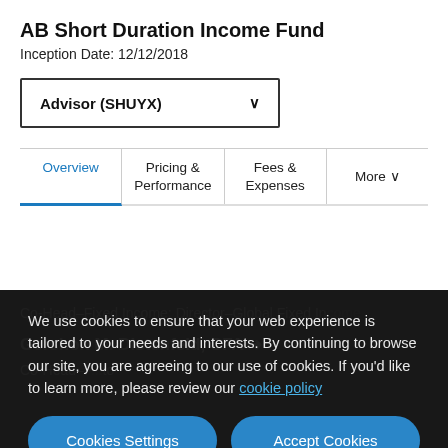AB Short Duration Income Fund
Inception Date: 12/12/2018
Advisor (SHUYX)
Overview | Pricing & Performance | Fees & Expenses | More
Co-Head–Fixed Income; Director–Global Fixed Income
Gershon M. Distenfeld, CFA
Co-Head–F... to
We use cookies to ensure that your web experience is tailored to your needs and interests. By continuing to browse our site, you are agreeing to our use of cookies. If you'd like to learn more, please review our cookie policy
Cookies Settings | Accept Cookies